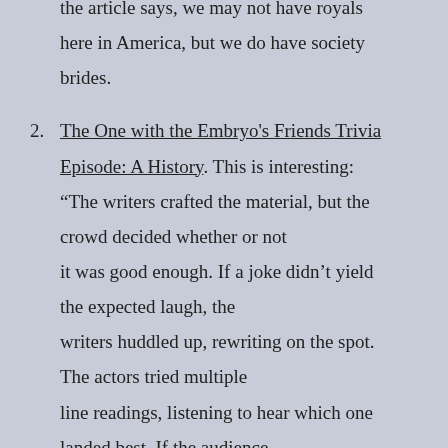the article says, we may not have royals here in America, but we do have society brides.
The One with the Embryo's Friends Trivia Episode: A History. This is interesting: "The writers crafted the material, but the crowd decided whether or not it was good enough. If a joke didn't yield the expected laugh, the writers huddled up, rewriting on the spot. The actors tried multiple line readings, listening to hear which one landed best. If the audience seemed uncomfortable or put off by a line, they'd rewrite and tried them...